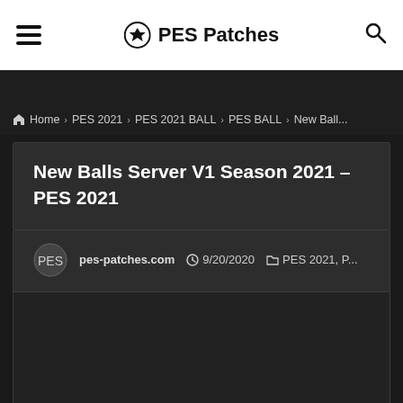⚽ PES Patches
Home > PES 2021 > PES 2021 BALL > PES BALL > New Ball...
New Balls Server V1 Season 2021 – PES 2021
pes-patches.com   9/20/2020   PES 2021, P...